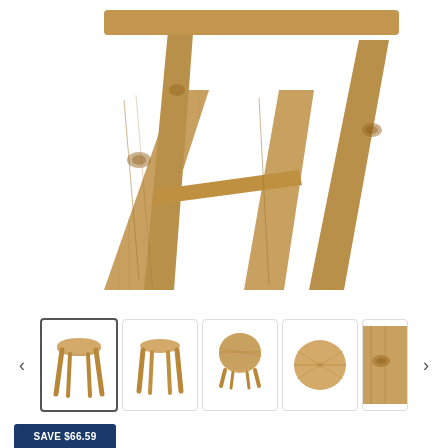[Figure (photo): Close-up photo of wooden stool legs and base, showing natural acacia wood grain texture. The stool has four angled wooden legs visible from below at an angle, with a circular top partially visible at top.]
[Figure (photo): Thumbnail gallery row showing 5 views of a small round wooden stool (acacia wood): front-angle view (selected/active), front view, top-angle view, top-down view, and close-up partial view. Navigation arrows on left and right.]
SAVE $66.59